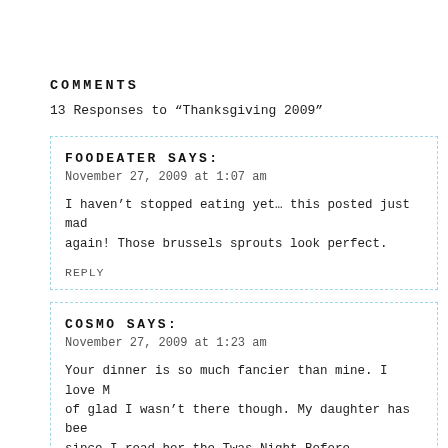COMMENTS
13 Responses to “Thanksgiving 2009”
FOODEATER SAYS:
November 27, 2009 at 1:07 am

I haven’t stopped eating yet… this posted just made me want to eat again! Those brussels sprouts look perfect.

REPLY
COSMO SAYS:
November 27, 2009 at 1:23 am

Your dinner is so much fancier than mine. I love M of glad I wasn’t there though. My daughter has been since I read her the Twas Night Before Thanksgivin